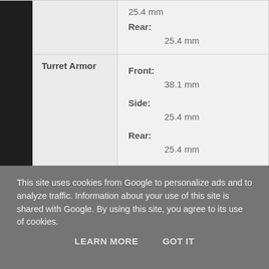|  |  |  |
| --- | --- | --- |
|  |  | Rear:
25.4 mm |
|  | Turret Armor | Front:
38.1 mm
Side:
25.4 mm
Rear:
25.4 mm |
This site uses cookies from Google to personalize ads and to analyze traffic. Information about your use of this site is shared with Google. By using this site, you agree to its use of cookies.
LEARN MORE   GOT IT